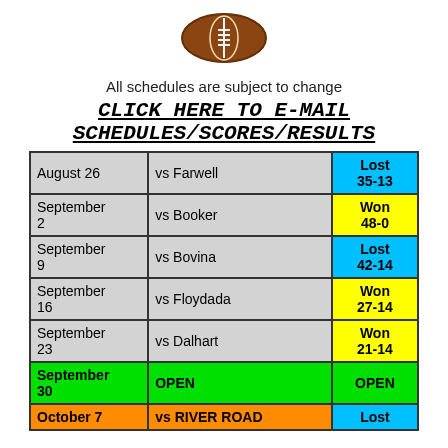[Figure (illustration): American football icon/emoji image centered at top of page]
All schedules are subject to change
CLICK HERE TO E-MAIL SCHEDULES/SCORES/RESULTS
| Date | Opponent | Result |
| --- | --- | --- |
| August 26 | vs Farwell | Lost 35-13 |
| September 2 | vs Booker | Won 48-0 |
| September 9 | vs Bovina | Lost 42-14 |
| September 16 | vs Floydada | Won 27-14 |
| September 23 | vs Dalhart | Won 21-14 |
| September 30 | OPEN | OPEN |
| October 7 | vs RIVER ROAD | Lost |